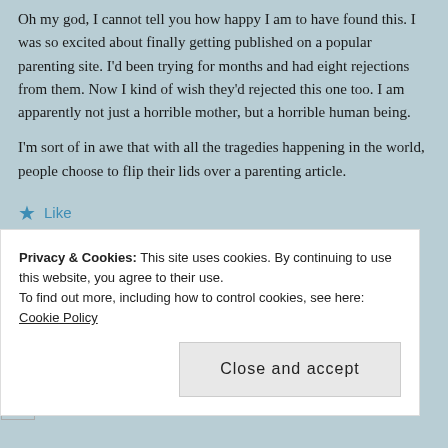Oh my god, I cannot tell you how happy I am to have found this. I was so excited about finally getting published on a popular parenting site. I'd been trying for months and had eight rejections from them. Now I kind of wish they'd rejected this one too. I am apparently not just a horrible mother, but a horrible human being.
I'm sort of in awe that with all the tragedies happening in the world, people choose to flip their lids over a parenting article.
★ Like
REPLY
Privacy & Cookies: This site uses cookies. By continuing to use this website, you agree to their use.
To find out more, including how to control cookies, see here: Cookie Policy
Close and accept